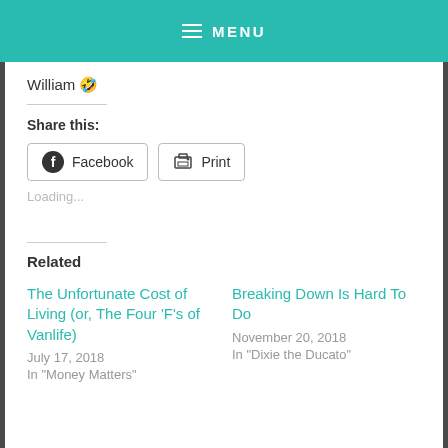MENU
William 🤣
Share this:
Facebook
Print
Loading...
Related
The Unfortunate Cost of Living (or, The Four 'F's of Vanlife)
July 17, 2018
In "Money Matters"
Breaking Down Is Hard To Do
November 20, 2018
In "Dixie the Ducato"